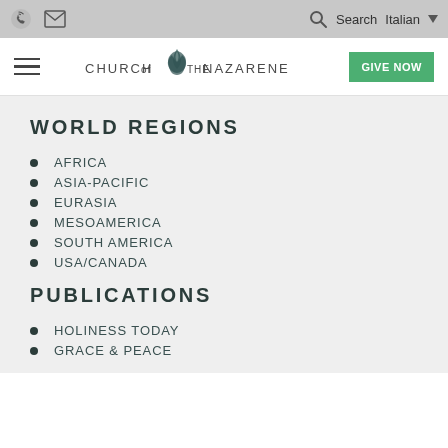Church of the Nazarene - Search - Italian
[Figure (logo): Church of the Nazarene logo with flame emblem and text]
WORLD REGIONS
AFRICA
ASIA-PACIFIC
EURASIA
MESOAMERICA
SOUTH AMERICA
USA/CANADA
PUBLICATIONS
HOLINESS TODAY
GRACE & PEACE